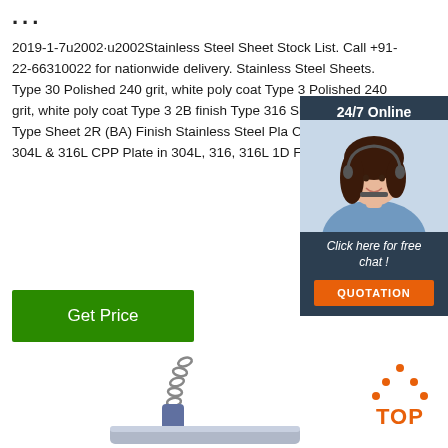...
2019-1-7u2002·u2002Stainless Steel Sheet Stock List. Call +91-22-66310022 for nationwide delivery. Stainless Steel Sheets. Type 30 Polished 240 grit, white poly coat Type 3 Polished 240 grit, white poly coat Type 3 2B finish Type 316 Sheet 2B finish Type Sheet 2R (BA) Finish Stainless Steel Pla Cold Rolled in 304L & 316L CPP Plate in 304L, 316, 316L 1D Finish
[Figure (photo): Chat widget with woman wearing headset, '24/7 Online' header, 'Click here for free chat!' text, and orange QUOTATION button]
[Figure (other): Green 'Get Price' button]
[Figure (photo): Partial photo of industrial crane hook with chain and metal plate at bottom of page]
[Figure (logo): Orange 'TOP' logo with dots forming a triangle shape above the text]